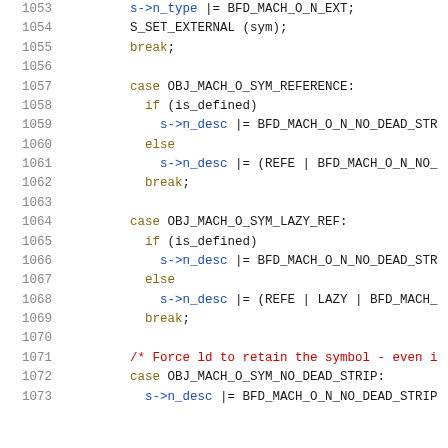1053  s->n_type |= BFD_MACH_O_N_EXT;
1054  S_SET_EXTERNAL (sym);
1055  break;
1056
1057  case OBJ_MACH_O_SYM_REFERENCE:
1058    if (is_defined)
1059      s->n_desc |= BFD_MACH_O_N_NO_DEAD_STR
1060    else
1061      s->n_desc |= (REFE | BFD_MACH_O_N_NO_
1062    break;
1063
1064  case OBJ_MACH_O_SYM_LAZY_REF:
1065    if (is_defined)
1066      s->n_desc |= BFD_MACH_O_N_NO_DEAD_STR
1067    else
1068      s->n_desc |= (REFE | LAZY | BFD_MACH_
1069    break;
1070
1071  /* Force ld to retain the symbol - even i
1072  case OBJ_MACH_O_SYM_NO_DEAD_STRIP:
1073    s->n_desc |= BFD_MACH_O_N_NO_DEAD_STRIP